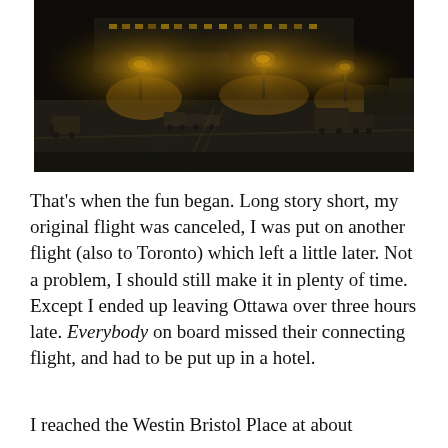[Figure (photo): Night-time photo of an airport tarmac with warm amber/yellow artificial lighting. Ground support equipment and baggage carts are visible, with a terminal building in the background showing lit windows.]
That’s when the fun began. Long story short, my original flight was canceled, I was put on another flight (also to Toronto) which left a little later. Not a problem, I should still make it in plenty of time. Except I ended up leaving Ottawa over three hours late. Everybody on board missed their connecting flight, and had to be put up in a hotel.
I reached the Westin Bristol Place at about